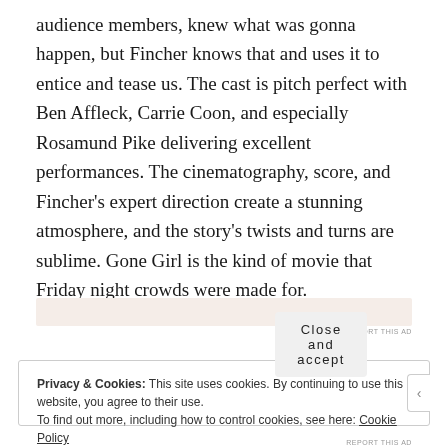audience members, knew what was gonna happen, but Fincher knows that and uses it to entice and tease us. The cast is pitch perfect with Ben Affleck, Carrie Coon, and especially Rosamund Pike delivering excellent performances. The cinematography, score, and Fincher's expert direction create a stunning atmosphere, and the story's twists and turns are sublime. Gone Girl is the kind of movie that Friday night crowds were made for.
[Figure (other): Advertisement banner placeholder (light salmon/beige colored bar)]
REPORT THIS AD
Privacy & Cookies: This site uses cookies. By continuing to use this website, you agree to their use.
To find out more, including how to control cookies, see here: Cookie Policy
Close and accept